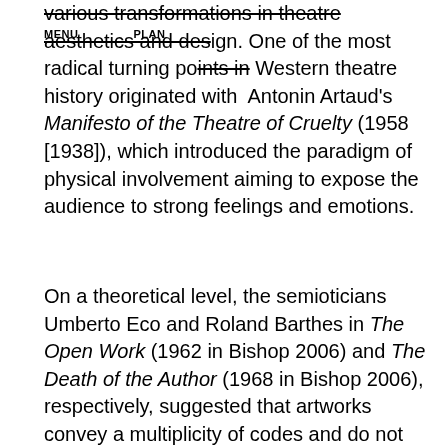various transformations in theatre aesthetics and design. One of the most radical turning points in Western theatre history originated with Antonin Artaud's Manifesto of the Theatre of Cruelty (1958 [1938]), which introduced the paradigm of physical involvement aiming to expose the audience to strong feelings and emotions.
On a theoretical level, the semioticians Umberto Eco and Roland Barthes in The Open Work (1962 in Bishop 2006) and The Death of the Author (1968 in Bishop 2006), respectively, suggested that artworks convey a multiplicity of codes and do not represent a singular meaning. Eco stressed that the role of the viewers in visual art, music, and literature, is to compose independently their way to access the object. Barthes' ideas about the death of the author resonate with contemporary art practices that proclaim the death of the creator